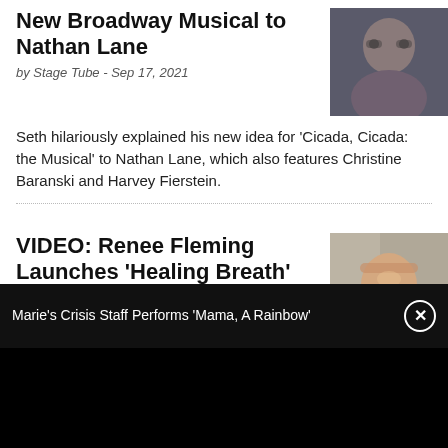New Broadway Musical to Nathan Lane
by Stage Tube - Sep 17, 2021
[Figure (photo): Portrait photo of a man (Nathan Lane / Seth Meyers related) in dark shirt, wearing glasses, dark background]
Seth hilariously explained his new idea for 'Cicada, Cicada: the Musical' to Nathan Lane, which also features Christine Baranski and Harvey Fierstein.
VIDEO: Renee Fleming Launches 'Healing Breath' Series to Help COVID-19 Survivors
by Stage Tube - Aug 3, 2021
[Figure (photo): Portrait photo of Renee Fleming, a blonde woman smiling, wearing a blazer with yellow scarf, bookshelves in background]
Soprano and Arts/Health Advocate Renée Fleming has launched Healing Breath: a series of breathing exercises shared by opera singers, actors and Broadway
Marie's Crisis Staff Performs 'Mama, A Rainbow'